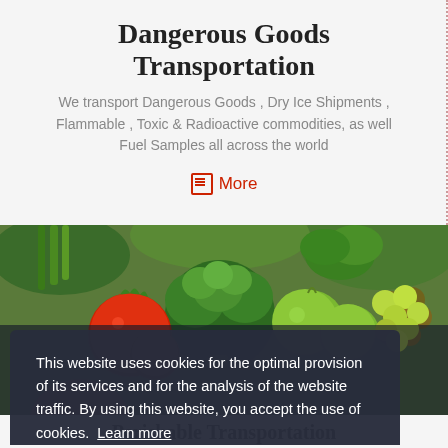Dangerous Goods Transportation
We transport Dangerous Goods , Dry Ice Shipments , Flammable , Toxic & Radioactive commodities, as well Fuel Samples all across the world
More
[Figure (photo): Fresh vegetables and fruits including tomatoes, broccoli, apples, grapes, and other produce]
This website uses cookies for the optimal provision of its services and for the analysis of the website traffic. By using this website, you accept the use of cookies. Learn more
Got It!
Perishable Transportation